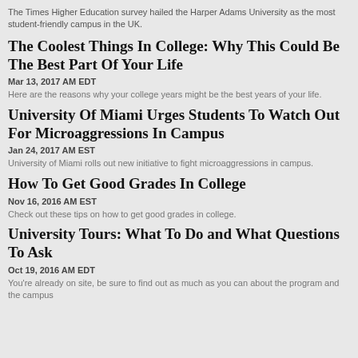The Times Higher Education survey hailed the Harper Adams University as the most student-friendly campus in the UK.
The Coolest Things In College: Why This Could Be The Best Part Of Your Life
Mar 13, 2017 AM EDT
Here are the reasons why your college years might be the best years of your life.
University Of Miami Urges Students To Watch Out For Microaggressions In Campus
Jan 24, 2017 AM EST
University of Miami rolls out new initiative to fight microaggressions in campus.
How To Get Good Grades In College
Nov 16, 2016 AM EST
Check out these tips on how to get good grades in college.
University Tours: What To Do and What Questions To Ask
Oct 19, 2016 AM EDT
You're already on site, be sure to find out as much as you can about the program and the campus